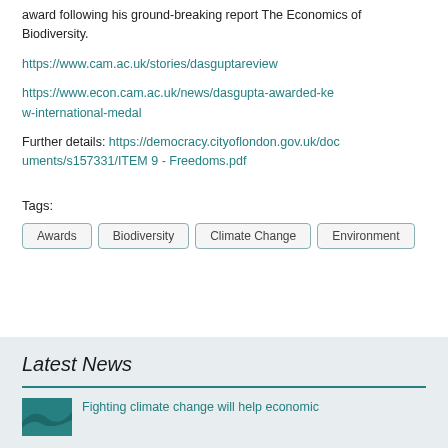award following his ground-breaking report The Economics of Biodiversity.
https://www.cam.ac.uk/stories/dasguptareview
https://www.econ.cam.ac.uk/news/dasgupta-awarded-kew-international-medal
Further details: https://democracy.cityoflondon.gov.uk/documents/s157331/ITEM 9 - Freedoms.pdf
Tags:
Awards
Biodiversity
Climate Change
Environment
Latest News
Fighting climate change will help economic